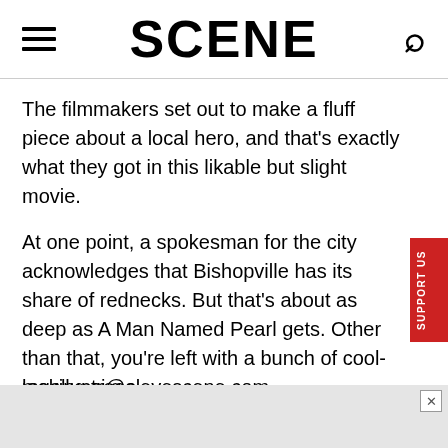SCENE
The filmmakers set out to make a fluff piece about a local hero, and that's exactly what they got in this likable but slight movie.
At one point, a spokesman for the city acknowledges that Bishopville has its share of rednecks. But that's about as deep as A Man Named Pearl gets. Other than that, you're left with a bunch of cool-looking trees.
mgallucci@clevescene.com